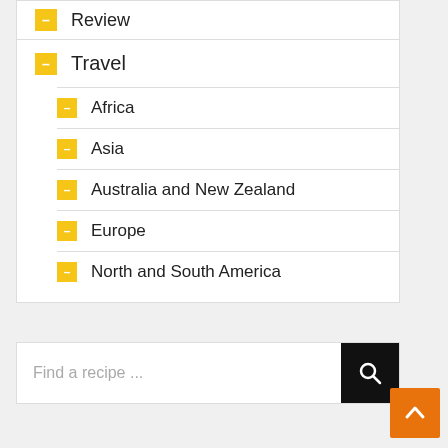Review
Travel
Africa
Asia
Australia and New Zealand
Europe
North and South America
Find a recipe ...